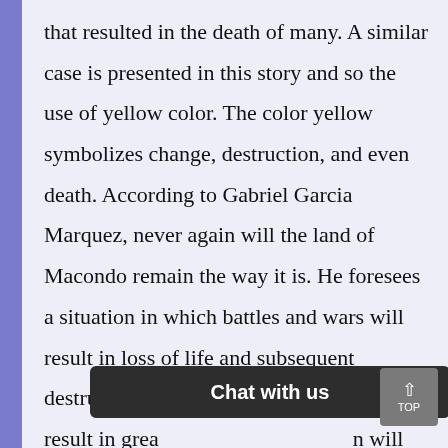that resulted in the death of many. A similar case is presented in this story and so the use of yellow color. The color yellow symbolizes change, destruction, and even death. According to Gabriel Garcia Marquez, never again will the land of Macondo remain the way it is. He foresees a situation in which battles and wars will result in loss of life and subsequent destruction of property. This will ultimately result in grea[t...] [n] will